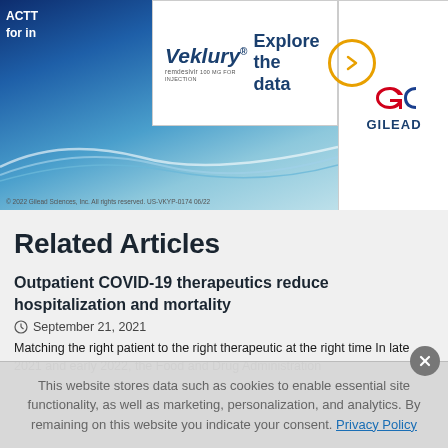[Figure (advertisement): Veklury (remdesivir) advertisement by Gilead Sciences with blue wave background, 'Explore the data' text and circular arrow button. Footer: © 2022 Gilead Sciences, Inc. All rights reserved. US-VKYP-0174 06/22]
Related Articles
Outpatient COVID-19 therapeutics reduce hospitalization and mortality
September 21, 2021
Matching the right patient to the right therapeutic at the right time In late 2021 and early 2022, the Food and Drug Administration
This website stores data such as cookies to enable essential site functionality, as well as marketing, personalization, and analytics. By remaining on this website you indicate your consent. Privacy Policy